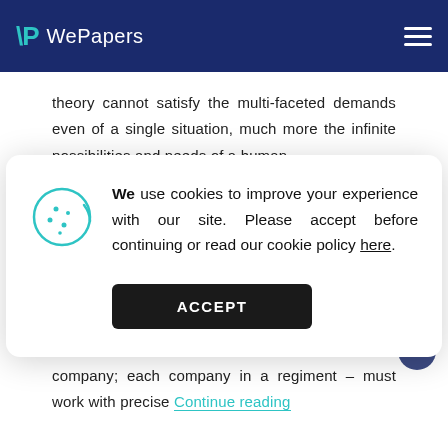WePapers
theory cannot satisfy the multi-faceted demands even of a single situation, much more the infinite possibilities and needs of a human
[Figure (screenshot): Cookie consent modal with cookie icon, text about cookies improving experience, a link 'here', and an ACCEPT button]
mechanistic system wherein each part of the system – each unit in a platoon; each platoon in a company; each company in a regiment – must work with precise Continue reading